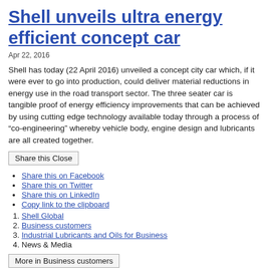Shell unveils ultra energy efficient concept car
Apr 22, 2016
Shell has today (22 April 2016) unveiled a concept city car which, if it were ever to go into production, could deliver material reductions in energy use in the road transport sector. The three seater car is tangible proof of energy efficiency improvements that can be achieved by using cutting edge technology available today through a process of “co-engineering” whereby vehicle body, engine design and lubricants are all created together.
Share this Close
Share this on Facebook
Share this on Twitter
Share this on LinkedIn
Copy link to the clipboard
1. Shell Global
2. Business customers
3. Industrial Lubricants and Oils for Business
4. News & Media
More in Business customers